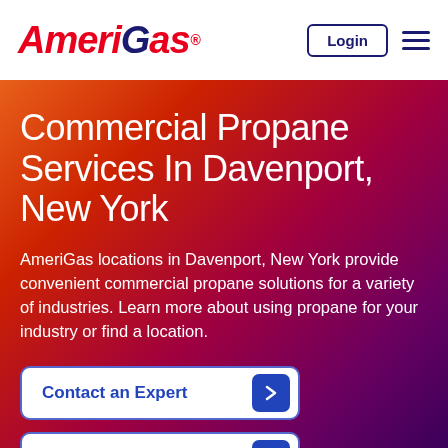AmeriGas® | Login | Menu
Commercial Propane Services In Davenport, New York
AmeriGas locations in Davenport, New York provide convenient commercial propane solutions for a variety of industries. Learn more about using propane for your industry or find a location.
Contact an Expert
Existing Customers